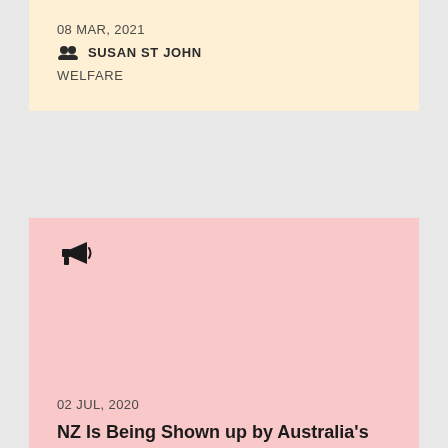08 MAR, 2021
SUSAN ST JOHN
WELFARE
[Figure (illustration): Megaphone / loudspeaker icon on pink card background]
02 JUL, 2020
NZ Is Being Shown up by Australia's Family Tax Credit System - CPAG